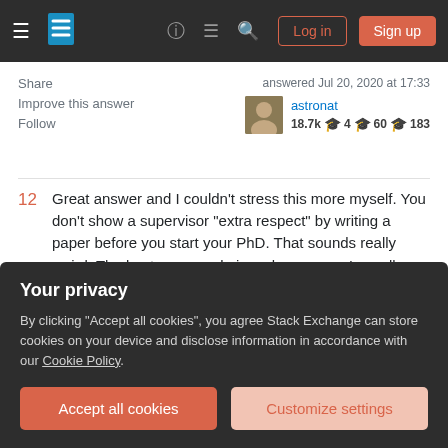Stack Exchange navigation bar with logo, help, chat, search, Log in, Sign up
Share
Improve this answer
Follow
answered Jul 20, 2020 at 17:33
astronat
18.7k 4 60 183
12   Great answer and I couldn't stress this more myself. You don't show a supervisor "extra respect" by writing a paper before you start your PhD. That sounds really weird. The best you can do is make sure you're well-rested, and then from day one when you actually start, do your best and impress him with steady progress. But don't worry either if that doesn't happen each week, you will inevitably also have hard moments
Your privacy
By clicking "Accept all cookies", you agree Stack Exchange can store cookies on your device and disclose information in accordance with our Cookie Policy.
Accept all cookies
Customize settings
at that time. – KratosMath Jul 21, 2020 at 9:59